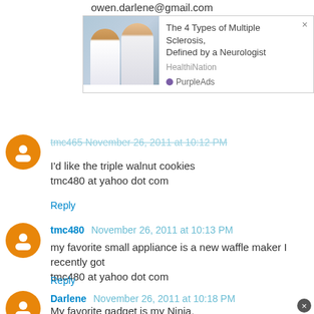owen.darlene@gmail.com
[Figure (screenshot): Advertisement overlay: The 4 Types of Multiple Sclerosis, Defined by a Neurologist - HealthiNation - PurpleAds]
tmc465 November 26, 2011 at 10:12 PM
I'd like the triple walnut cookies
tmc480 at yahoo dot com
Reply
tmc480 November 26, 2011 at 10:13 PM
my favorite small appliance is a new waffle maker I recently got
tmc480 at yahoo dot com
Reply
Darlene November 26, 2011 at 10:18 PM
My favorite gadget is my Ninja.
owen.darlene@gmail.com